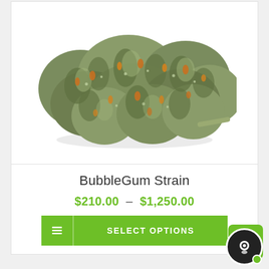[Figure (photo): Close-up photo of a cannabis bud (BubbleGum Strain) with green and orange coloring on a white background]
BubbleGum Strain
$210.00 – $1,250.00
SELECT OPTIONS